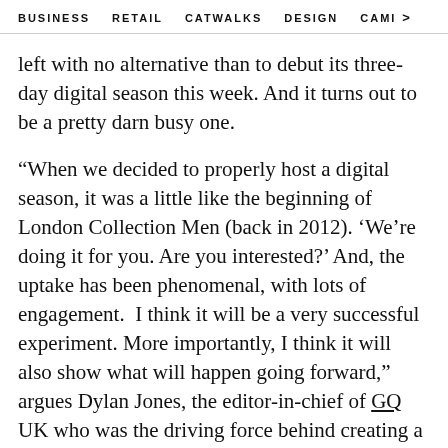BUSINESS   RETAIL   CATWALKS   DESIGN   CAMI >
left with no alternative than to debut its three-day digital season this week. And it turns out to be a pretty darn busy one.
“When we decided to properly host a digital season, it was a little like the beginning of London Collection Men (back in 2012). ‘We’re doing it for you. Are you interested?’ And, the uptake has been phenomenal, with lots of engagement.  I think it will be a very successful experiment. More importantly, I think it will also show what will happen going forward,” argues Dylan Jones, the editor-in-chief of GQ UK who was the driving force behind creating a standalone London menswear season.